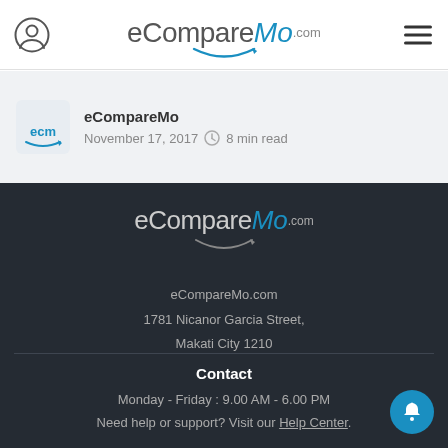eCompareMo.com — site navigation header
eCompareMo · November 17, 2017 · 8 min read
[Figure (logo): eCompareMo.com footer logo on dark background]
eCompareMo.com
1781 Nicanor Garcia Street,
Makati City 1210
Contact
Monday - Friday : 9.00 AM - 6.00 PM
Need help or support? Visit our Help Center.